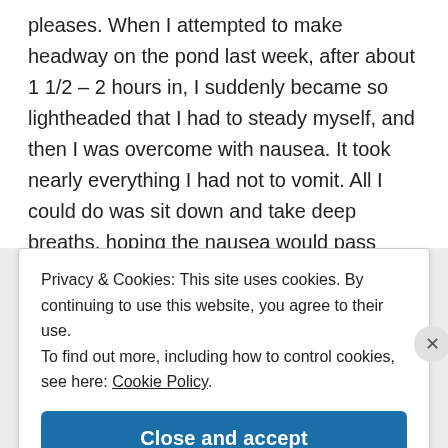pleases. When I attempted to make headway on the pond last week, after about 1 1/2 – 2 hours in, I suddenly became so lightheaded that I had to steady myself, and then I was overcome with nausea. It took nearly everything I had not to vomit. All I could do was sit down and take deep breaths, hoping the nausea would pass quickly and I would be able to resume working. I have yet to get back to working on the pond. I'm so
Privacy & Cookies: This site uses cookies. By continuing to use this website, you agree to their use.
To find out more, including how to control cookies, see here: Cookie Policy
Close and accept